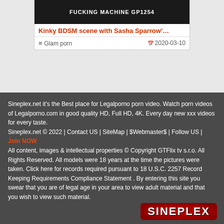[Figure (screenshot): Dark video thumbnail with white text 'FUCKING MACHINE GP1254']
Kinky BDSM scene with Sasha Sparrow'…
Glam porn   2020-03-10
Sineplex.net it's the Best place for Legalporno porn video. Watch porn videos of Legalporno.com in good quality HD, Full HD, 4K. Every day new xxx videos for every taste.
Sineplex.net © 2022 | Contact US | SiteMap | $Webmaster$ | Follow US | Join NOW
All content, images & intellectual properties © Copyright GTFlix tv s.r.o. All Rights Reserved. All models were 18 years at the time the pictures were taken. Click here for records required pursuant to 18 U.S.C. 2257 Record Keeping Requirements Compliance Statement . By entering this site you swear that you are of legal age in your area to view adult material and that you wish to view such material.
[Figure (logo): SINEPLEX logo in white bold text on red rounded rectangle background]